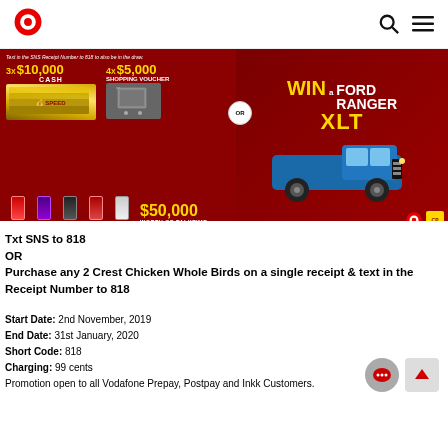Vodafone logo, search icon, menu icon
[Figure (photo): Vodafone promotional banner advertising prizes: 3x $10,000 Cash, 4x $5,000 Shopping Voucher, Win a Ford Ranger XLT, $50,000 Worth of Talktime. Features images of cash, shopping cart, Ford Ranger truck, and mobile phones.]
Txt SNS to 818
OR
Purchase any 2 Crest Chicken Whole Birds on a single receipt & text in the Receipt Number to 818
Start Date: 2nd November, 2019
End Date: 31st January, 2020
Short Code: 818
Charging: 99 cents
Promotion open to all Vodafone Prepay, Postpay and Inkk Customers.